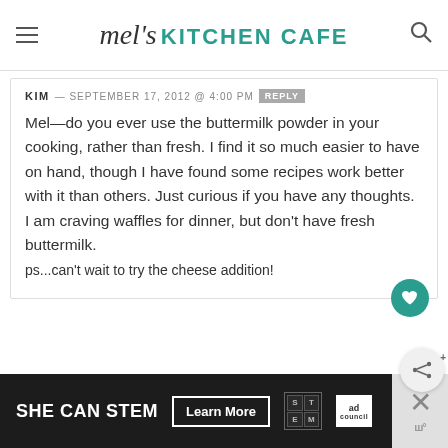mel's KITCHEN CAFE
KIM — SEPTEMBER 17, 2012 @ 4:00 PM  REPLY
Mel—do you ever use the buttermilk powder in your cooking, rather than fresh. I find it so much easier to have on hand, though I have found some recipes work better with it than others. Just curious if you have any thoughts. I am craving waffles for dinner, but don't have fresh buttermilk.
ps...can't wait to try the cheese addition!
[Figure (other): Partially visible second comment block with name starting DEBORA...]